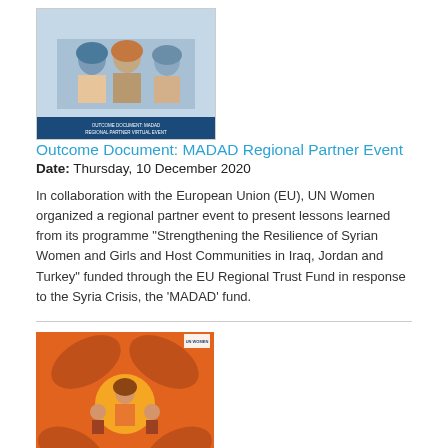[Figure (photo): Thumbnail image of MADAD Regional Partner Event document cover showing women in a meeting setting]
Outcome Document: MADAD Regional Partner Event
Date: Thursday, 10 December 2020
In collaboration with the European Union (EU), UN Women organized a regional partner event to present lessons learned from its programme "Strengthening the Resilience of Syrian Women and Girls and Host Communities in Iraq, Jordan and Turkey" funded through the EU Regional Trust Fund in response to the Syria Crisis, the 'MADAD' fund.
[Figure (photo): Thumbnail orange cover image for report on Impact of COVID-19 on Violence against Women and Girls in the Arab States through the lens of Women's Civil Society Organizations]
The Impact of COVID-19 on Violence against Women and Girls in the Arab States through the Lens of Women's Civil Society